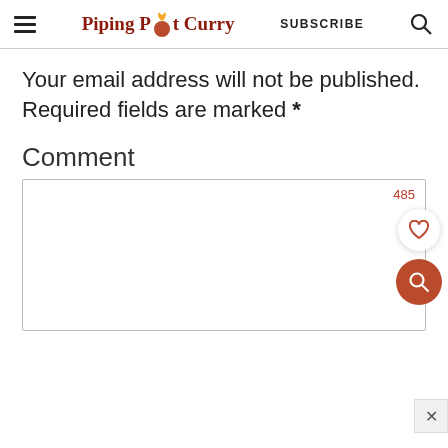Piping Pot Curry | SUBSCRIBE
Your email address will not be published. Required fields are marked *
Comment
[Figure (screenshot): Comment text input box with character count 485 and floating action buttons (heart and search icons)]